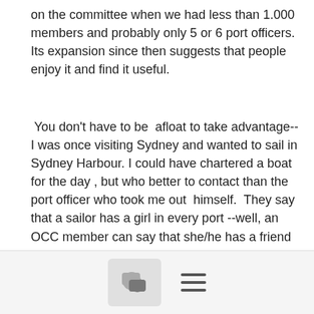on the committee when we had less than 1.000 members and probably only 5 or 6 port officers. Its expansion since then suggests that people enjoy it and find it useful.
You don't have to be  afloat to take advantage--I was once visiting Sydney and wanted to sail in Sydney Harbour. I could have chartered a boat for the day , but who better to contact than the port officer who took me out  himself.  They say that a sailor has a girl in every port --well, an OCC member can say that she/he has a friend in every port.
Ian and Judy, Pen Azen, SM 302, Greece
Show quoted text
[Figure (other): Footer bar with a chat bubble icon in a grey rounded box and a hamburger menu icon (three horizontal lines)]